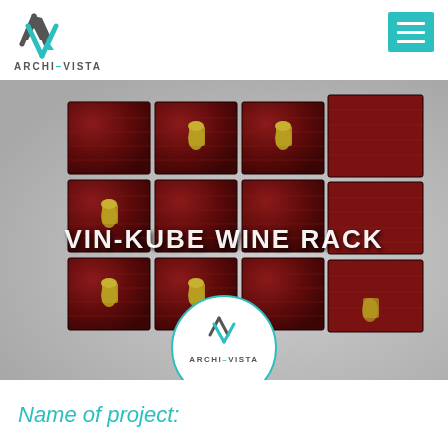[Figure (logo): Archi-Vista logo with AV triangular mark and text ARCHI-VISTA in the page header, top left]
[Figure (other): Hamburger menu button (three horizontal lines on teal/turquoise background), top right]
[Figure (photo): 3D render of a modular wine rack called VIN-KUBE WINE RACK — dark red wooden cube units connected with black cross-shaped connectors, holding multiple wine bottles. Text 'VIN-KUBE WINE RACK' overlaid in white. Archi-Vista circular logo watermark at the bottom center of the image.]
Name of project: